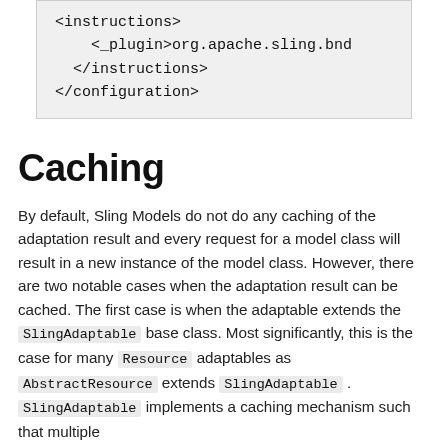[Figure (screenshot): Code block showing XML snippet: <instructions> tag (truncated), <_plugin>org.apache.sling.bnd (truncated), </instructions>, </configuration>]
Caching
By default, Sling Models do not do any caching of the adaptation result and every request for a model class will result in a new instance of the model class. However, there are two notable cases when the adaptation result can be cached. The first case is when the adaptable extends the SlingAdaptable base class. Most significantly, this is the case for many Resource adaptables as AbstractResource extends SlingAdaptable . SlingAdaptable implements a caching mechanism such that multiple